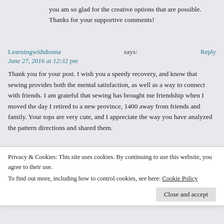you am so glad for the creative options that are possible. Thanks for your supportive comments!
Learningwithdonna says:
June 27, 2016 at 12:32 pm
Thank you for your post. I wish you a speedy recovery, and know that sewing provides both the mental satisfaction, as well as a way to connect with friends. I am grateful that sewing has brought me friendship when I moved the day I retired to a new province, 1400 away from friends and family. Your tops are very cute, and I appreciate the way you have analyzed the pattern directions and shared them.
loribeilby says:
June 27, 2016 at 6:33 pm
I, too, have found it fun to find new sewing friends, even on
Privacy & Cookies: This site uses cookies. By continuing to use this website, you agree to their use.
To find out more, including how to control cookies, see here: Cookie Policy
Close and accept